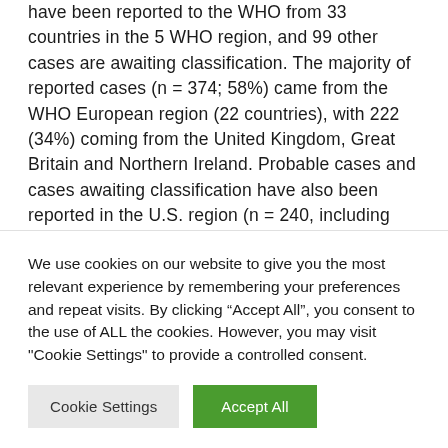have been reported to the WHO from 33 countries in the 5 WHO region, and 99 other cases are awaiting classification. The majority of reported cases (n = 374; 58%) came from the WHO European region (22 countries), with 222 (34%) coming from the United Kingdom, Great Britain and Northern Ireland. Probable cases and cases awaiting classification have also been reported in the U.S. region (n = 240, including 216 cases in
We use cookies on our website to give you the most relevant experience by remembering your preferences and repeat visits. By clicking “Accept All”, you consent to the use of ALL the cookies. However, you may visit "Cookie Settings" to provide a controlled consent.